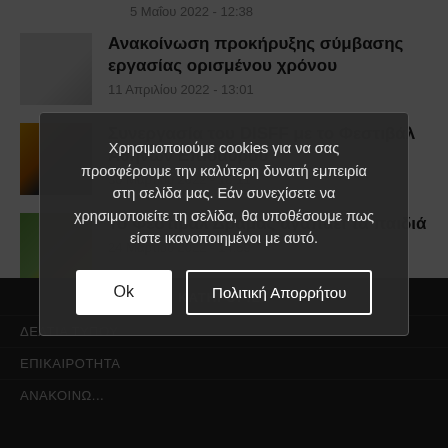5 Μαΐου 2022 - 12:38
Ανακοίνωση προκήρυξης σύμβασης εργασίας ορισμένου χρόνου
11 Απριλίου 2022 - 13:01
Συνεργασία του DISFF με το Φεστιβάλ Αθηνών Επιδαύρου
30 Μαρτίου 2022 - 18:11
Το Φεστιβάλ Δράμας αγαπάει τα παιδιά
24 Μαρτίου 2022 - 14:59
ΚΑΤΗΓΟΡΙΕΣ
ΔΕΛΤΙΑ ΤΥΠΟΥ
ΕΠΙΚΑΙΡΟΤΗΤΑ
ΑΝΑΚΟΙΝΩΣΕΙΣ
Χρησιμοποιούμε cookies για να σας προσφέρουμε την καλύτερη δυνατή εμπειρία στη σελίδα μας. Εάν συνεχίσετε να χρησιμοποιείτε τη σελίδα, θα υποθέσουμε πως είστε ικανοποιημένοι με αυτό.
Ok
Πολιτική Απορρήτου